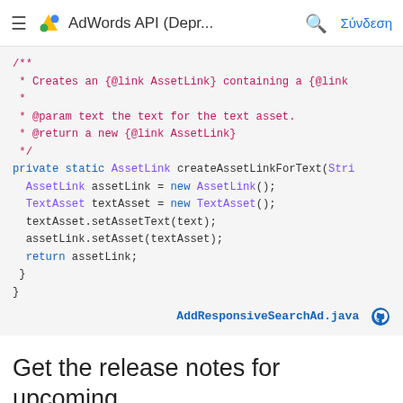≡  AdWords API (Depr...  🔍  Σύνδεση
[Figure (screenshot): Java code block with Javadoc comment and method body for createAssetLinkForText, shown on a light grey background. Code uses syntax highlighting: pink for comments, purple for class types, blue for keywords.]
AddResponsiveSearchAd.java (GitHub link)
Get the release notes for upcoming